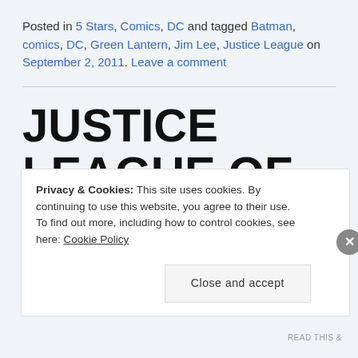Posted in 5 Stars, Comics, DC and tagged Batman, comics, DC, Green Lantern, Jim Lee, Justice League on September 2, 2011. Leave a comment
JUSTICE LEAGUE OF AMERICA #21 (2006)
Privacy & Cookies: This site uses cookies. By continuing to use this website, you agree to their use. To find out more, including how to control cookies, see here: Cookie Policy
Close and accept